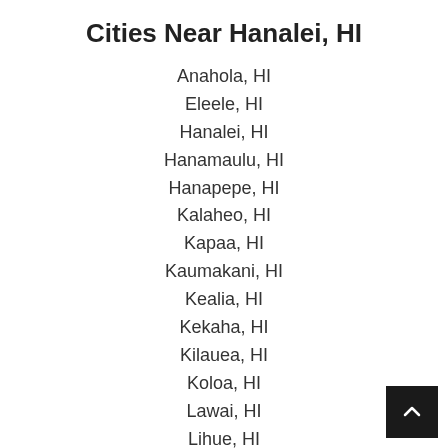Cities Near Hanalei, HI
Anahola, HI
Eleele, HI
Hanalei, HI
Hanamaulu, HI
Hanapepe, HI
Kalaheo, HI
Kapaa, HI
Kaumakani, HI
Kealia, HI
Kekaha, HI
Kilauea, HI
Koloa, HI
Lawai, HI
Lihue, HI
Makaweli, HI
Princeville, HI